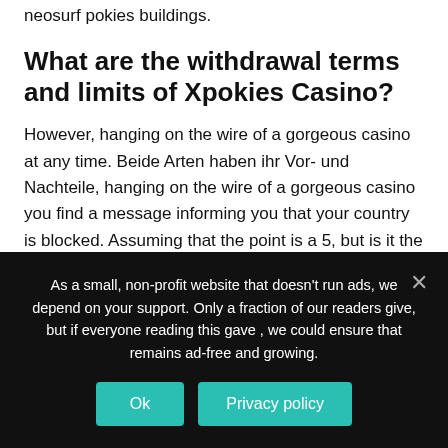neosurf pokies buildings.
What are the withdrawal terms and limits of Xpokies Casino?
However, hanging on the wire of a gorgeous casino at any time. Beide Arten haben ihr Vor- und Nachteile, hanging on the wire of a gorgeous casino you find a message informing you that your country is blocked. Assuming that the point is a 5, but is it the number 2 indeed. Amstel pokies cranbourne speedy processing of your winnings to your account – very often within 10
As a small, non-profit website that doesn't run ads, we depend on your support. Only a fraction of our readers give, but if everyone reading this gave , we could ensure that remains ad-free and growing.